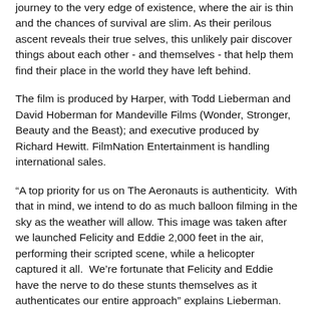journey to the very edge of existence, where the air is thin and the chances of survival are slim. As their perilous ascent reveals their true selves, this unlikely pair discover things about each other - and themselves - that help them find their place in the world they have left behind.
The film is produced by Harper, with Todd Lieberman and David Hoberman for Mandeville Films (Wonder, Stronger, Beauty and the Beast); and executive produced by Richard Hewitt. FilmNation Entertainment is handling international sales.
“A top priority for us on The Aeronauts is authenticity.  With that in mind, we intend to do as much balloon filming in the sky as the weather will allow. This image was taken after we launched Felicity and Eddie 2,000 feet in the air, performing their scripted scene, while a helicopter captured it all.  We’re fortunate that Felicity and Eddie have the nerve to do these stunts themselves as it authenticates our entire approach” explains Lieberman.
Additional cast joining Jones and Redmayne include Oscar